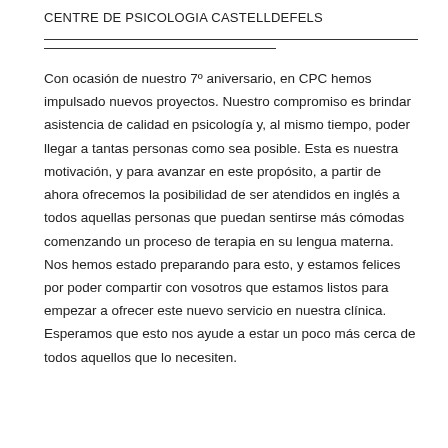CENTRE DE PSICOLOGIA CASTELLDEFELS
Con ocasión de nuestro 7º aniversario, en CPC hemos impulsado nuevos proyectos. Nuestro compromiso es brindar asistencia de calidad en psicología y, al mismo tiempo, poder llegar a tantas personas como sea posible. Esta es nuestra motivación, y para avanzar en este propósito, a partir de ahora ofrecemos la posibilidad de ser atendidos en inglés a todos aquellas personas que puedan sentirse más cómodas comenzando un proceso de terapia en su lengua materna. Nos hemos estado preparando para esto, y estamos felices por poder compartir con vosotros que estamos listos para empezar a ofrecer este nuevo servicio en nuestra clínica. Esperamos que esto nos ayude a estar un poco más cerca de todos aquellos que lo necesiten.